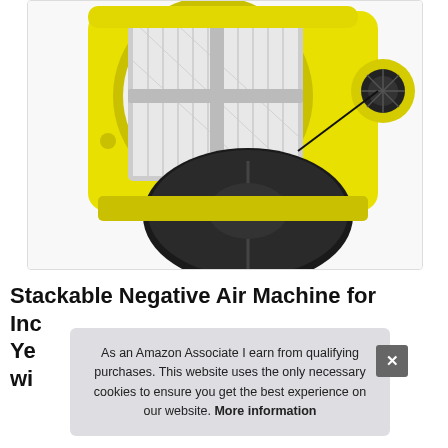[Figure (photo): A yellow stackable negative air machine/HEPA air scrubber with its circular black front cover removed and placed in front, showing the white HEPA filter exposed inside the yellow housing.]
Stackable Negative Air Machine for Inc Ye wi
As an Amazon Associate I earn from qualifying purchases. This website uses the only necessary cookies to ensure you get the best experience on our website. More information